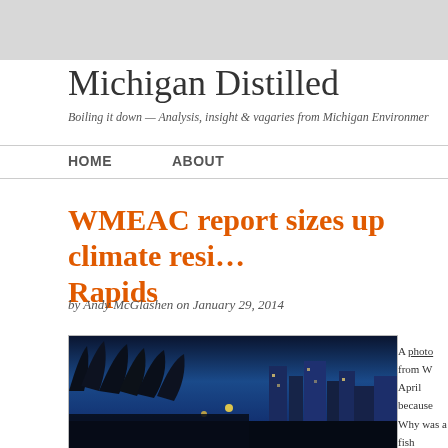Michigan Distilled
Boiling it down — Analysis, insight & vagaries from Michigan Environment
HOME   ABOUT
WMEAC report sizes up climate resi... Rapids
by Andy McGlashen on January 29, 2014
[Figure (photo): Night photo of Grand Rapids cityscape with trees in foreground, city lights, blue-toned image]
A photo from W April because Why was a fish Grand Rapids c